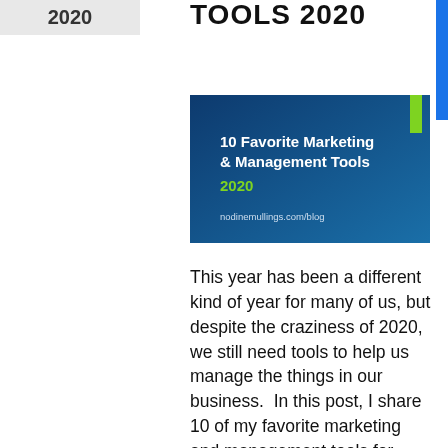2020
TOOLS 2020
[Figure (illustration): Blog post thumbnail image with dark blue gradient background, green accent bar at top right, white text reading '10 Favorite Marketing & Management Tools 2020', and URL 'nodinemullings.com/blog' at bottom]
This year has been a different kind of year for many of us, but despite the craziness of 2020, we still need tools to help us manage the things in our business.  In this post, I share 10 of my favorite marketing and management tools for 2020.